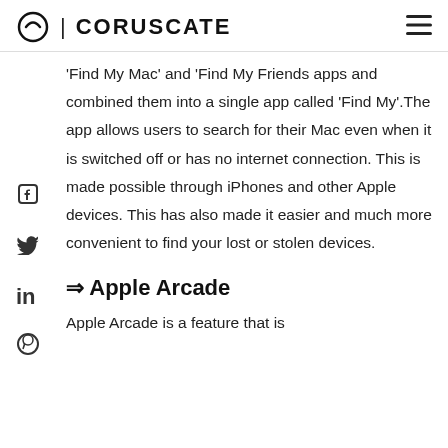CORUSCATE
'Find My Mac' and 'Find My Friends apps and combined them into a single app called 'Find My'.The app allows users to search for their Mac even when it is switched off or has no internet connection. This is made possible through iPhones and other Apple devices. This has also made it easier and much more convenient to find your lost or stolen devices.
⇒ Apple Arcade
Apple Arcade is a feature that is